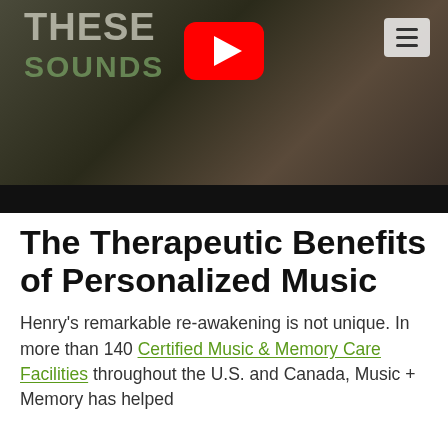[Figure (screenshot): YouTube video thumbnail showing a person's hands, with overlaid text 'THESE SOUNDS', a YouTube play button icon, and a hamburger menu icon in the top right corner. The bottom of the thumbnail has a black bar.]
The Therapeutic Benefits of Personalized Music
Henry's remarkable re-awakening is not unique. In more than 140 Certified Music & Memory Care Facilities throughout the U.S. and Canada, Music + Memory has helped